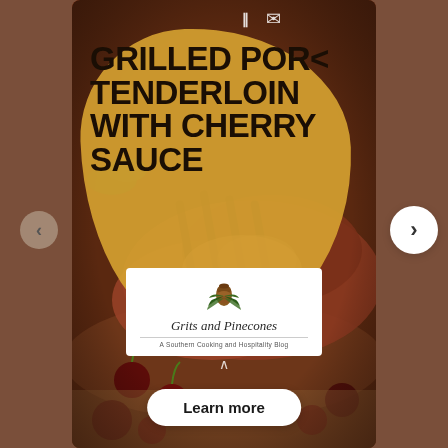[Figure (photo): Food blog web story card showing grilled pork tenderloin with cherries on a wooden board, with a golden brush-stroke overlay containing the recipe title, a blog logo box, and a Learn more button]
GRILLED PORK TENDERLOIN WITH CHERRY SAUCE
[Figure (logo): Grits and Pinecones logo — pine cone with green leaves, script text 'Grits and Pinecones', tagline 'A Southern Cooking and Hospitality Blog']
Learn more